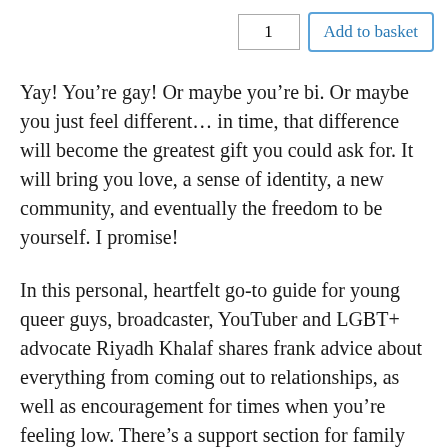[Figure (other): E-commerce quantity input box showing '1' and an 'Add to basket' button with blue border]
Yay! You're gay! Or maybe you're bi. Or maybe you just feel different... in time, that difference will become the greatest gift you could ask for. It will bring you love, a sense of identity, a new community, and eventually the freedom to be yourself. I promise!
In this personal, heartfelt go-to guide for young queer guys, broadcaster, YouTuber and LGBT+ advocate Riyadh Khalaf shares frank advice about everything from coming out to relationships, as well as encouragement for times when you're feeling low. There's a support section for family and friends written by Riyadh's parents and LOADS of hilarious, embarrassing, inspiring and moving stories from gay boys from around the world. Plus inspirational gay men including Stephen Fry, Clark Moore and James